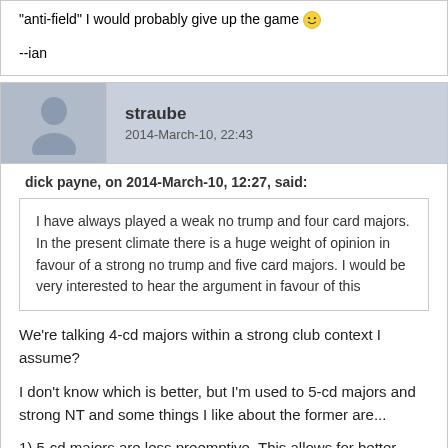"anti-field" I would probably give up the game 🙂

--ian
straube
2014-March-10, 22:43
dick payne, on 2014-March-10, 12:27, said:
I have always played a weak no trump and four card majors. In the present climate there is a huge weight of opinion in favour of a strong no trump and five card majors. I would be very interested to hear the argument in favour of this
We're talking 4-cd majors within a strong club context I assume?
I don't know which is better, but I'm used to 5-cd majors and strong NT and some things I like about the former are...
1) 5-cd majors are less preemptive. This allows for better auctions for us (and admittedly our opponents) in many ways. There's